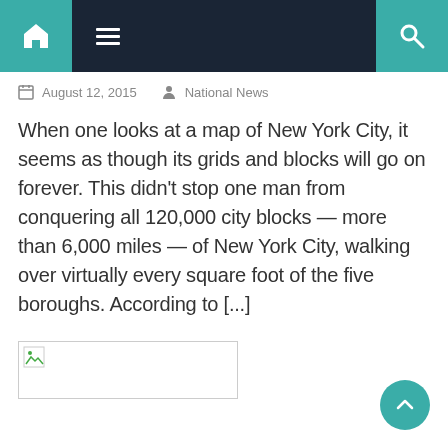Navigation bar with home, menu, and search icons
August 12, 2015   National News
When one looks at a map of New York City, it seems as though its grids and blocks will go on forever. This didn't stop one man from conquering all 120,000 city blocks — more than 6,000 miles — of New York City, walking over virtually every square foot of the five boroughs. According to [...]
[Figure (photo): Broken image placeholder thumbnail]